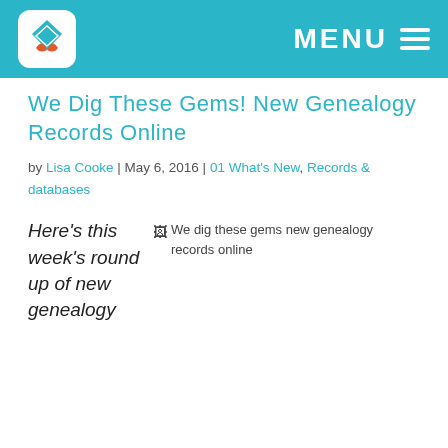MENU
We Dig These Gems! New Genealogy Records Online
by Lisa Cooke | May 6, 2016 | 01 What's New, Records & databases
[Figure (photo): Broken image placeholder: We dig these gems new genealogy records online]
Here's this week's round up of new genealogy